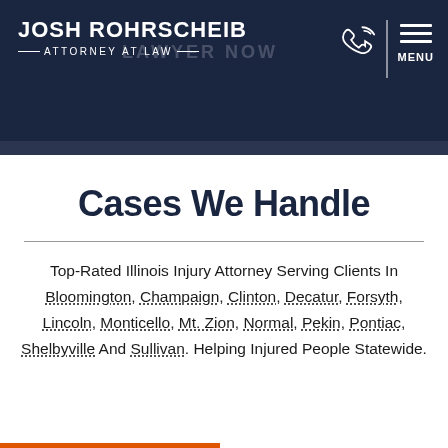JOSH ROHRSCHEIB ATTORNEY AT LAW
Cases We Handle
Top-Rated Illinois Injury Attorney Serving Clients In Bloomington, Champaign, Clinton, Decatur, Forsyth, Lincoln, Monticello, Mt. Zion, Normal, Pekin, Pontiac, Shelbyville And Sullivan. Helping Injured People Statewide.